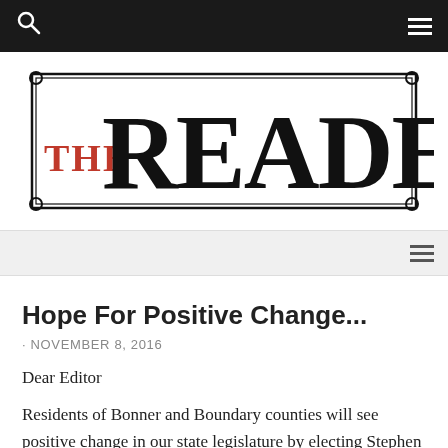[Figure (logo): The Reader newspaper logo with decorative border, THE in red/orange and READER in large serif black text]
Hope For Positive Change...
· NOVEMBER 8, 2016
Dear Editor
Residents of Bonner and Boundary counties will see positive change in our state legislature by electing Stephen Howlett in the